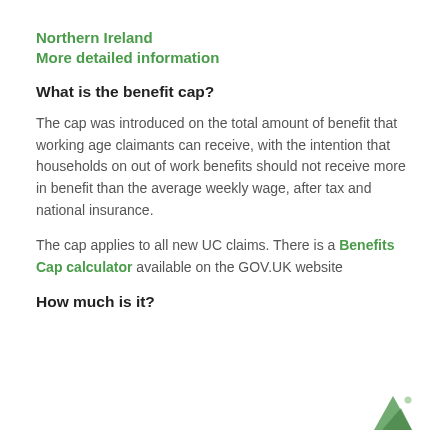Northern Ireland
More detailed information
What is the benefit cap?
The cap was introduced on the total amount of benefit that working age claimants can receive, with the intention that households on out of work benefits should not receive more in benefit than the average weekly wage, after tax and national insurance.
The cap applies to all new UC claims. There is a Benefits Cap calculator available on the GOV.UK website
How much is it?
[Figure (logo): Green logo/icon of a mountain or triangle shape with a small circle, government branding mark]